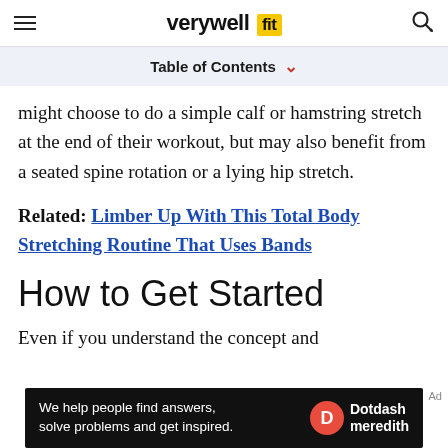verywell fit
Table of Contents
might choose to do a simple calf or hamstring stretch at the end of their workout, but may also benefit from a seated spine rotation or a lying hip stretch.
Related: Limber Up With This Total Body Stretching Routine That Uses Bands
How to Get Started
Even if you understand the concept and
[Figure (other): Dotdash Meredith advertisement banner with text: We help people find answers, solve problems and get inspired.]